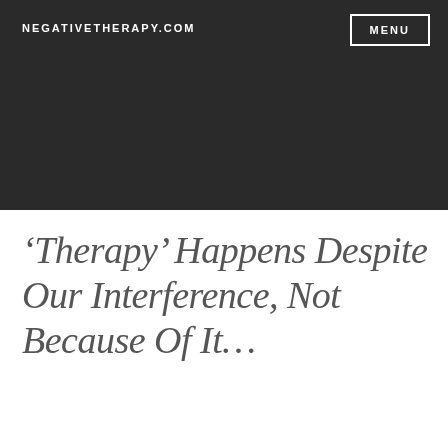NEGATIVETHERAPY.COM
MENU
‘Therapy’ Happens Despite Our Interference, Not Because Of It…